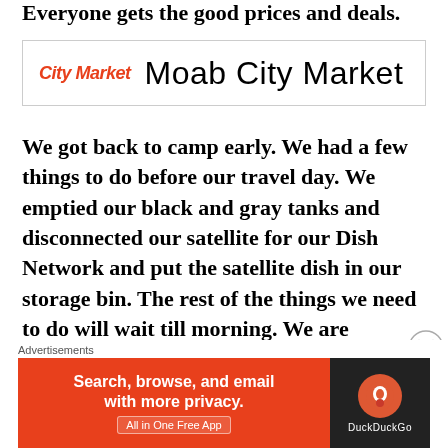Everyone gets the good prices and deals.
[Figure (logo): City Market logo (red italic script) next to bold text 'Moab City Market' inside a bordered box]
We got back to camp early. We had a few things to do before our travel day. We emptied our black and gray tanks and disconnected our satellite for our Dish Network and put the satellite dish in our storage bin. The rest of the things we need to do will wait till morning. We are heading to Vernal City and staying two nights at the KOA there.
Advertisements
[Figure (screenshot): DuckDuckGo advertisement banner: orange left section reading 'Search, browse, and email with more privacy. All in One Free App' and dark right section with DuckDuckGo logo]